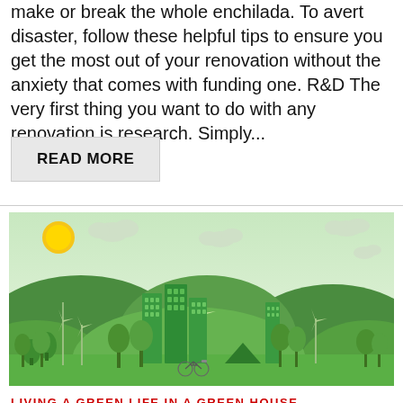make or break the whole enchilada. To avert disaster, follow these helpful tips to ensure you get the most out of your renovation without the anxiety that comes with funding one. R&D The very first thing you want to do with any renovation is research. Simply...
READ MORE
[Figure (illustration): Paper art style illustration of a green eco city with wind turbines, green buildings, trees, hills, clouds, sun, and a bicycle in the foreground.]
LIVING A GREEN LIFE IN A GREEN HOUSE